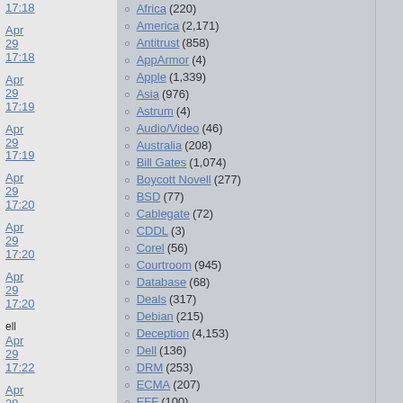Apr 29 17:18
Apr 29 17:19
Apr 29 17:19
Apr 29 17:20
Apr 29 17:20
Apr 29 17:20
Apr 29 17:22
Apr 29 17:27
Apr 29 17:35
Apr 29
ell
Africa (220)
America (2,171)
Antitrust (858)
AppArmor (4)
Apple (1,339)
Asia (976)
Astrum (4)
Audio/Video (46)
Australia (208)
Bill Gates (1,074)
Boycott Novell (277)
BSD (77)
Cablegate (72)
CDDL (3)
Corel (56)
Courtroom (945)
Database (68)
Deals (317)
Debian (215)
Deception (4,153)
Dell (136)
DRM (253)
ECMA (207)
EFF (100)
Europe (7,136)
Finance (1,228)